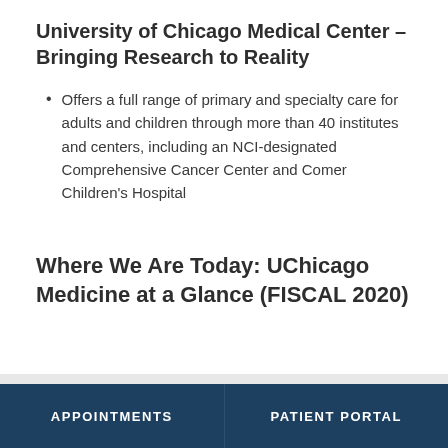University of Chicago Medical Center – Bringing Research to Reality
Offers a full range of primary and specialty care for adults and children through more than 40 institutes and centers, including an NCI-designated Comprehensive Cancer Center and Comer Children's Hospital
Where We Are Today: UChicago Medicine at a Glance (FISCAL 2020)
APPOINTMENTS | PATIENT PORTAL